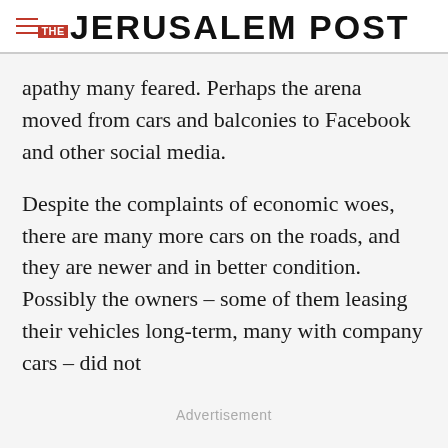THE JERUSALEM POST
apathy many feared. Perhaps the arena moved from cars and balconies to Facebook and other social media.
Despite the complaints of economic woes, there are many more cars on the roads, and they are newer and in better condition. Possibly the owners – some of them leasing their vehicles long-term, many with company cars – did not
Advertisement